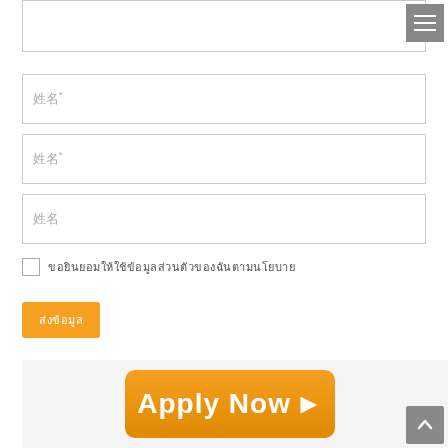[Figure (screenshot): A web form with a text area at top, three input fields with placeholder text in Thai characters, a checkbox with label text, an orange submit button, and a bottom banner with an orange 'Apply Now' button. A hamburger menu icon appears top right and a scroll-to-top arrow button appears bottom right.]
姓名*
姓名*
姓名
ขอยินยอมให้ใช้ข้อมูลส่วนตัวของฉันตามนโยบาย
ส่งข้อมูล
Apply Now ▶